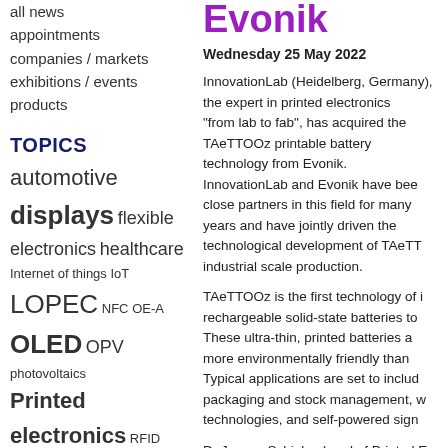all news
appointments
companies / markets
exhibitions / events
products
TOPICS
automotive displays flexible electronics healthcare Internet of things IoT LOPEC NFC OE-A OLED OPV photovoltaics Printed electronics RFID sensors smart packaging solar solar energy top news wearables
Evonik
Wednesday 25 May 2022
InnovationLab (Heidelberg, Germany), the expert in printed electronics "from lab to fab", has acquired the TAeTTOOz printable battery technology from Evonik. InnovationLab and Evonik have been close partners in this field for many years and have jointly driven the technological development of TAeTT industrial scale production.
TAeTTOOz is the first technology of i rechargeable solid-state batteries to These ultra-thin, printed batteries a more environmentally friendly than Typical applications are set to includ packaging and stock management, w technologies, and self-powered sign
Dr Janusz Schinke, head of Printed E